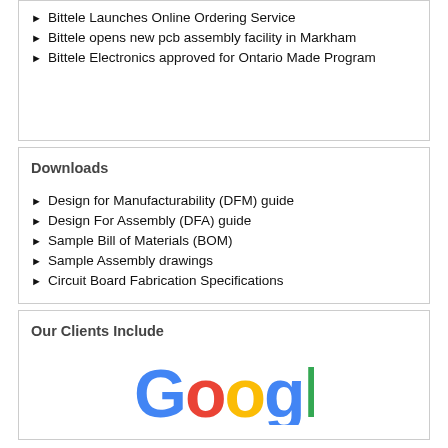Bittele Launches Online Ordering Service
Bittele opens new pcb assembly facility in Markham
Bittele Electronics approved for Ontario Made Program
Downloads
Design for Manufacturability (DFM) guide
Design For Assembly (DFA) guide
Sample Bill of Materials (BOM)
Sample Assembly drawings
Circuit Board Fabrication Specifications
Our Clients Include
[Figure (logo): Google logo in multicolor]